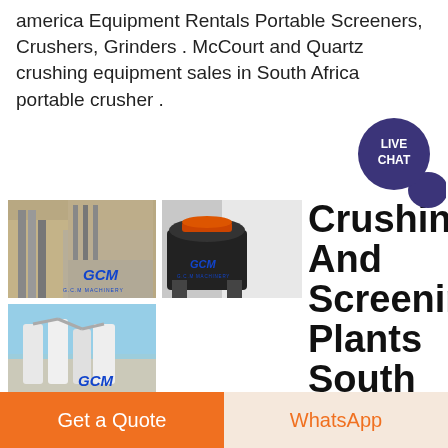america Equipment Rentals Portable Screeners, Crushers, Grinders . McCourt and Quartz crushing equipment sales in South Africa portable crusher .
[Figure (photo): Two photos of GCM machinery equipment at industrial sites - top shows yellow industrial structure, bottom shows white dust collector/separator equipment. Logo 'GCM' in blue italic text.]
[Figure (photo): Photo of a large black and red crushing machine (cone crusher) at a facility with white walls. GCM logo in blue italic text.]
Crushing And Screening Plants South Africa
Crushing And Screening Plants South Africa. Give vibratory screens a fair shake amit 145 lesson 1 industrial screens mining mill coal storage hopper with vibrating screen agitator vibration equipment for concrete testing soil sand testing equipments vsi crusher hardness sands
Get a Quote
WhatsApp